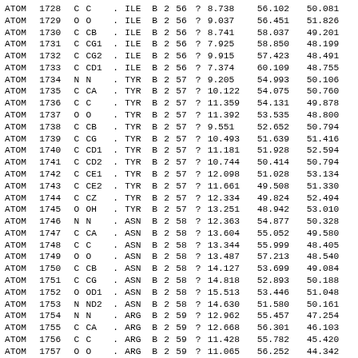| ATOM | 1728 | C | C | . | ILE | B | 2 | 56 | ? | 8.738 | 56.102 | 50.081 |
| ATOM | 1729 | O | O | . | ILE | B | 2 | 56 | ? | 9.037 | 56.451 | 51.826 |
| ATOM | 1730 | C | CB | . | ILE | B | 2 | 56 | ? | 8.741 | 58.037 | 49.201 |
| ATOM | 1731 | C | CG1 | . | ILE | B | 2 | 56 | ? | 7.925 | 58.850 | 48.199 |
| ATOM | 1732 | C | CG2 | . | ILE | B | 2 | 56 | ? | 9.915 | 57.423 | 48.491 |
| ATOM | 1733 | C | CD1 | . | ILE | B | 2 | 56 | ? | 7.374 | 60.109 | 48.755 |
| ATOM | 1734 | N | N | . | TYR | B | 2 | 57 | ? | 9.205 | 54.993 | 50.106 |
| ATOM | 1735 | C | CA | . | TYR | B | 2 | 57 | ? | 10.122 | 54.075 | 50.760 |
| ATOM | 1736 | C | C | . | TYR | B | 2 | 57 | ? | 11.359 | 54.131 | 49.878 |
| ATOM | 1737 | O | O | . | TYR | B | 2 | 57 | ? | 11.392 | 53.535 | 48.800 |
| ATOM | 1738 | C | CB | . | TYR | B | 2 | 57 | ? | 9.551 | 52.652 | 50.794 |
| ATOM | 1739 | C | CG | . | TYR | B | 2 | 57 | ? | 10.493 | 51.639 | 51.416 |
| ATOM | 1740 | C | CD1 | . | TYR | B | 2 | 57 | ? | 11.181 | 51.928 | 52.594 |
| ATOM | 1741 | C | CD2 | . | TYR | B | 2 | 57 | ? | 10.744 | 50.414 | 50.794 |
| ATOM | 1742 | C | CE1 | . | TYR | B | 2 | 57 | ? | 12.098 | 51.028 | 53.134 |
| ATOM | 1743 | C | CE2 | . | TYR | B | 2 | 57 | ? | 11.661 | 49.508 | 51.330 |
| ATOM | 1744 | C | CZ | . | TYR | B | 2 | 57 | ? | 12.334 | 49.824 | 52.494 |
| ATOM | 1745 | O | OH | . | TYR | B | 2 | 57 | ? | 13.251 | 48.942 | 53.010 |
| ATOM | 1746 | N | N | . | ASN | B | 2 | 58 | ? | 12.363 | 54.877 | 50.328 |
| ATOM | 1747 | C | CA | . | ASN | B | 2 | 58 | ? | 13.604 | 55.052 | 49.580 |
| ATOM | 1748 | C | C | . | ASN | B | 2 | 58 | ? | 13.344 | 55.999 | 48.405 |
| ATOM | 1749 | O | O | . | ASN | B | 2 | 58 | ? | 13.487 | 57.213 | 48.540 |
| ATOM | 1750 | C | CB | . | ASN | B | 2 | 58 | ? | 14.127 | 53.699 | 49.084 |
| ATOM | 1751 | C | CG | . | ASN | B | 2 | 58 | ? | 14.818 | 52.893 | 50.188 |
| ATOM | 1752 | O | OD1 | . | ASN | B | 2 | 58 | ? | 15.513 | 53.446 | 51.048 |
| ATOM | 1753 | N | ND2 | . | ASN | B | 2 | 58 | ? | 14.630 | 51.580 | 50.161 |
| ATOM | 1754 | N | N | . | ARG | B | 2 | 59 | ? | 12.962 | 55.457 | 47.254 |
| ATOM | 1755 | C | CA | . | ARG | B | 2 | 59 | ? | 12.668 | 56.301 | 46.103 |
| ATOM | 1756 | C | C | . | ARG | B | 2 | 59 | ? | 11.428 | 55.782 | 45.420 |
| ATOM | 1757 | O | O | . | ARG | B | 2 | 59 | ? | 11.065 | 56.252 | 44.342 |
| ATOM | 1758 | C | CB | . | ARG | B | 2 | 59 | ? | 12.880 | 57.810 | 46.444 |